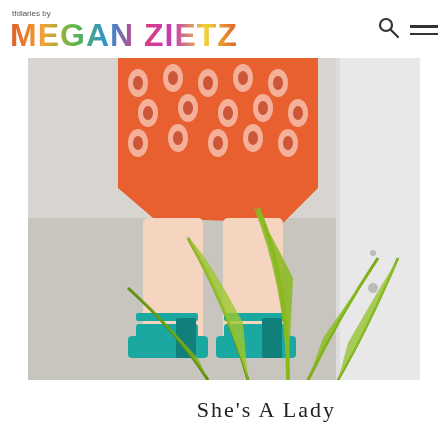tfdiaries by MEGAN ZIETZ
[Figure (photo): Fashion photo showing legs of a person wearing a coral/orange patterned mini dress and teal platform heeled sandals, standing on a light colored ground with green tropical plant leaves in the foreground, white wall in background]
She's A Lady